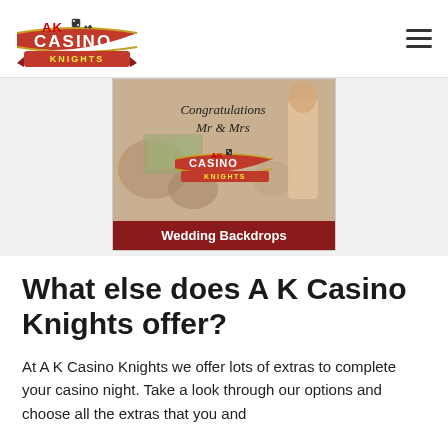AK Casino Knights
[Figure (photo): Wedding Backdrops promotional image showing AK Casino Knights logo with 'Congratulations Mr & Mrs' text and casino decorations, with a red banner at bottom reading 'Wedding Backdrops']
What else does A K Casino Knights offer?
At A K Casino Knights we offer lots of extras to complete your casino night. Take a look through our options and choose all the extras that you and